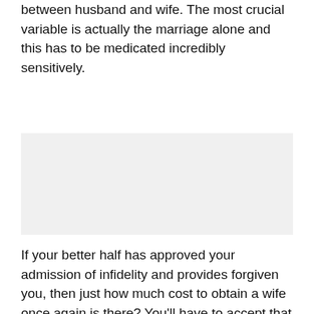between husband and wife. The most crucial variable is actually the marriage alone and this has to be medicated incredibly sensitively.
[Figure (other): Gray placeholder/image box]
If your better half has approved your admission of infidelity and provides forgiven you, then just how much cost to obtain a wife once again is there? You'll have to accept that she may possibly never come back to you. In the event that she is continue to in love with after this you that is more than likely the best outcome for the purpose of both of you. If which is case then you certainly have work to do in order to repair destruction done to her opinion of you. You have to ensure that she feels relaxed